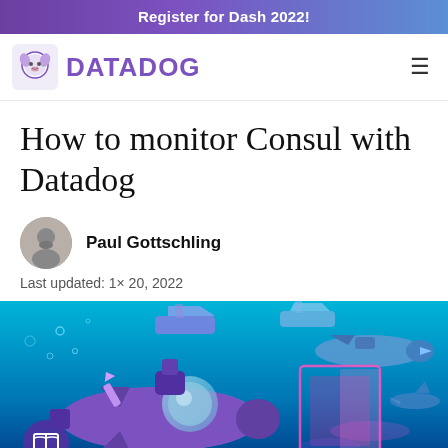Register for Dash 2022!
[Figure (logo): Datadog logo with dog icon and purple DATADOG wordmark, plus hamburger menu icon]
How to monitor Consul with Datadog
Paul Gottschling
Last updated: 1× 20, 2022
[Figure (illustration): Underwater scene illustration with purple submarines, pink glowing structures, sharks, and bubbles on a blue gradient background. A book/reading icon in a purple circle is in the lower left.]